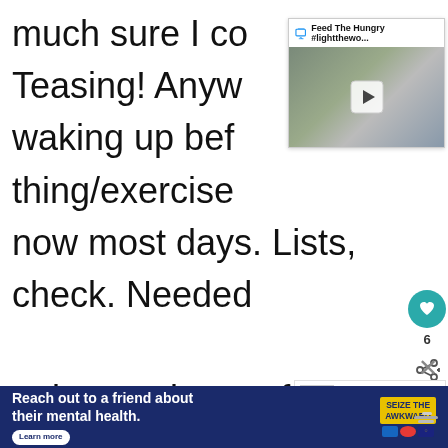much sure I co Teasing! Anyw waking up bef thing/exercise now most days. Lists, check. Needed to buy a planner for the last two months. Ran out of months and never replaced it! But it's gold when it's there! And lately I've been trying to limit my phone/iPad
[Figure (screenshot): Video overlay popup with header 'Feed The Hungry #lightthewo...' and a video thumbnail showing children in the back of a car with milk jugs and egg cartons, with a play button in the center]
[Figure (infographic): Heart/like button (teal circle with heart icon) with count of 6, and a share button below]
[Figure (screenshot): What's Next panel with a book thumbnail and text 'WHAT'S NEXT → Am I doing this MOM...']
[Figure (infographic): Ad banner: 'Reach out to a friend about their mental health. Learn more' with 'SEIZE THE AWKWARD' yellow logo and small ad logos, with X close button and weather icon]